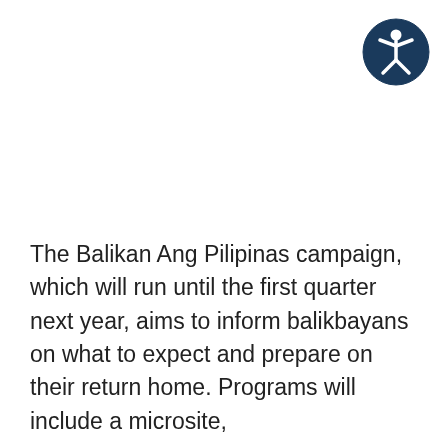[Figure (logo): Accessibility icon: dark navy blue circle with white stylized human figure with arms and legs spread (universal accessibility symbol)]
The Balikan Ang Pilipinas campaign, which will run until the first quarter next year, aims to inform balikbayans on what to expect and prepare on their return home. Programs will include a microsite,